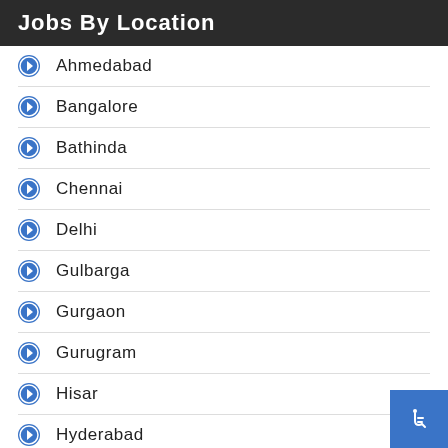Jobs By Location
Ahmedabad
Bangalore
Bathinda
Chennai
Delhi
Gulbarga
Gurgaon
Gurugram
Hisar
Hyderabad
Jaipur
Kolkata
Kollam